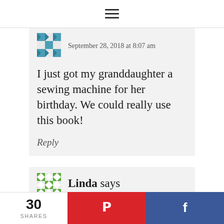≡
September 28, 2018 at 8:07 am
I just got my granddaughter a sewing machine for her birthday. We could really use this book!
Reply
Linda says
30 SHARES